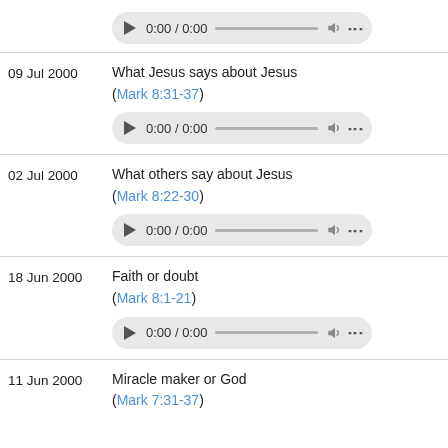[Figure (screenshot): Audio player control at top of page, partially visible, showing 0:00 / 0:00]
09 Jul 2000 — What Jesus says about Jesus (Mark 8:31-37) [audio player]
02 Jul 2000 — What others say about Jesus (Mark 8:22-30) [audio player]
18 Jun 2000 — Faith or doubt (Mark 8:1-21) [audio player]
11 Jun 2000 — Miracle maker or God (Mark 7:31-37)